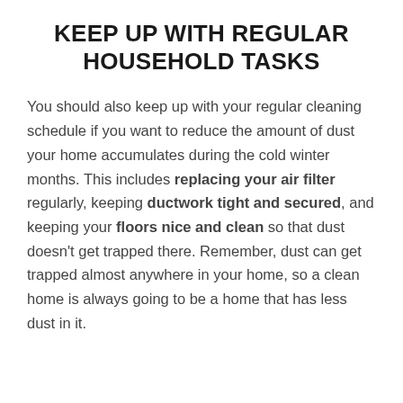KEEP UP WITH REGULAR HOUSEHOLD TASKS
You should also keep up with your regular cleaning schedule if you want to reduce the amount of dust your home accumulates during the cold winter months. This includes replacing your air filter regularly, keeping ductwork tight and secured, and keeping your floors nice and clean so that dust doesn't get trapped there. Remember, dust can get trapped almost anywhere in your home, so a clean home is always going to be a home that has less dust in it.